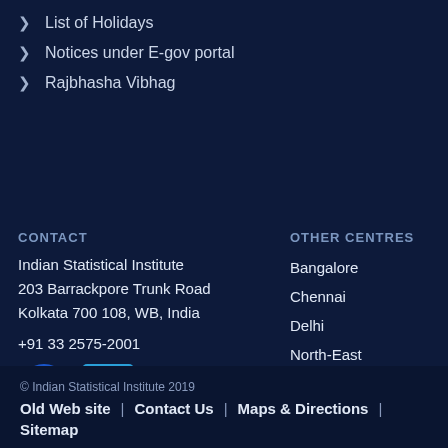List of Holidays
Notices under E-gov portal
Rajbhasha Vibhag
CONTACT
Indian Statistical Institute
203 Barrackpore Trunk Road
Kolkata 700 108, WB, India
+91 33 2575-2001
[Figure (logo): Facebook and LinkedIn social media icons]
OTHER CENTRES
Bangalore
Chennai
Delhi
North-East
© Indian Statistical Institute 2019  Old Web site  |  Contact Us  |  Maps & Directions  |  Sitemap